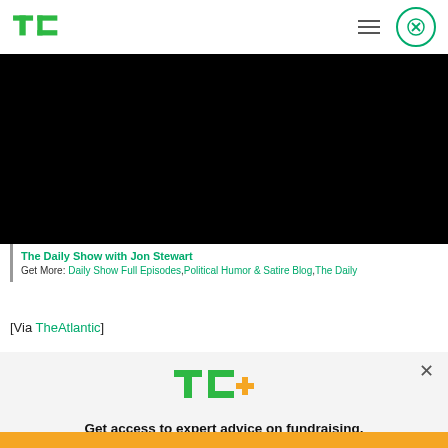TechCrunch
[Figure (screenshot): Embedded video player with black background - The Daily Show with Jon Stewart clip]
The Daily Show with Jon Stewart
Get More: Daily Show Full Episodes, Political Humor & Satire Blog, The Daily...
[Via TheAtlantic]
[Figure (infographic): TC+ promotional banner with TechCrunch Plus logo, fundraising advice text, and Explore Now button]
Get access to expert advice on fundraising, growth, and management for your startup.